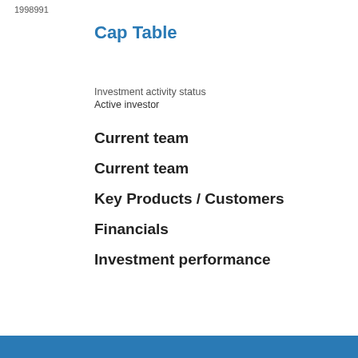1998991
Cap Table
Investment activity status
Active investor
Current team
Current team
Key Products / Customers
Financials
Investment performance
| Date | 30 Sep 2020 |
| --- | --- |
| IRR | -5.10 % |
| Money multiple | 0.80 x |